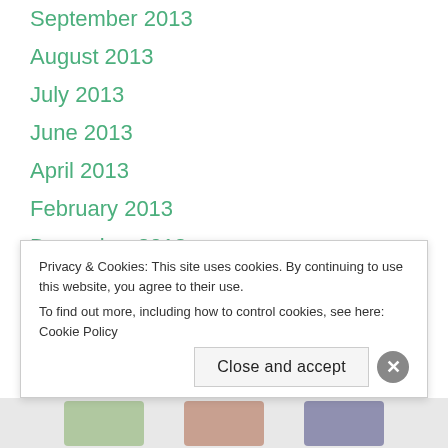September 2013
August 2013
July 2013
June 2013
April 2013
February 2013
December 2012
November 2012
September 2012
August 2012
July 2012
June 2012
May 2012
Privacy & Cookies: This site uses cookies. By continuing to use this website, you agree to their use.
To find out more, including how to control cookies, see here: Cookie Policy
Close and accept